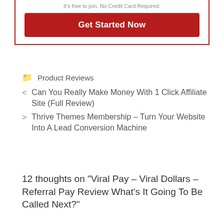It's free to join. No Credit Card Required.
Get Started Now
Product Reviews
< Can You Really Make Money With 1 Click Affiliate Site (Full Review)
> Thrive Themes Membership – Turn Your Website Into A Lead Conversion Machine
12 thoughts on "Viral Pay – Viral Dollars – Referral Pay Review What's It Going To Be Called Next?"